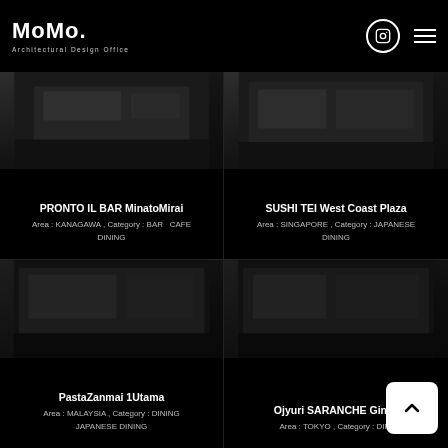MoMo. Architectural Design Office
[Figure (photo): Dark interior photo of PRONTO IL BAR MinatoMirai restaurant]
PRONTO IL BAR MinatoMirai
Area : KANAGAWA , Category : BAR  CAFE DINING
[Figure (photo): Dark interior photo of SUSHI TEI West Coast Plaza restaurant]
SUSHI TEI West Coast Plaza
Area : SINGAPORE , Category : JAPANESE DINING
[Figure (photo): Dark interior photo of PastaZanmai 1Utama restaurant]
PastaZanmai 1Utama
Area : MALAYSIA , Category : DINING JAPANESE DINING
[Figure (photo): Dark interior photo of Ojyuri SARANCHE Ginza restaurant]
Ojyuri SARANCHE Ginza
Area : TOKYO , Category : DINING